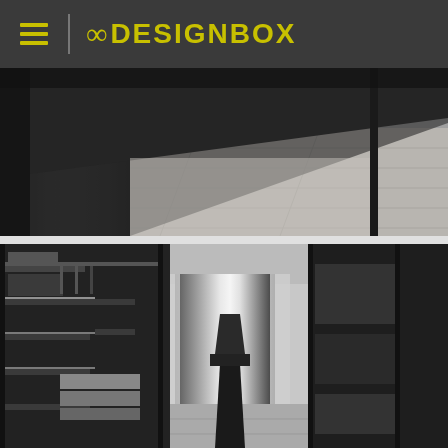8 DESIGNBOX
[Figure (photo): Close-up interior design photo showing a dark wooden desk/table surface with thin metal legs on a light gray hardwood floor, shot from a low angle]
[Figure (photo): Interior design photo of a walk-in closet/dressing room with dark open shelving units holding clothes and accessories, a central vanity chair, large window with white curtains, and mirrored surfaces on the right side]